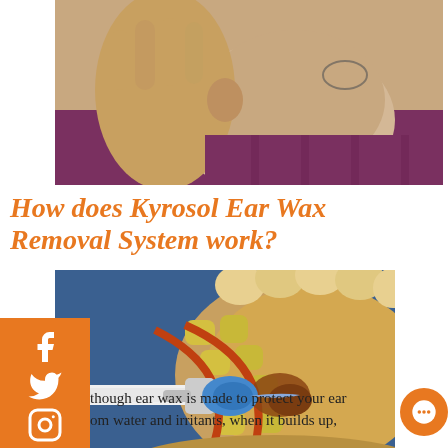[Figure (photo): Close-up of an elderly man with white beard touching his ear]
How does Kyrosol Ear Wax Removal System work?
[Figure (illustration): Medical cross-section diagram of ear canal showing ear wax removal device inserted into the ear]
though ear wax is made to protect your ear from water and irritants, when it builds up,